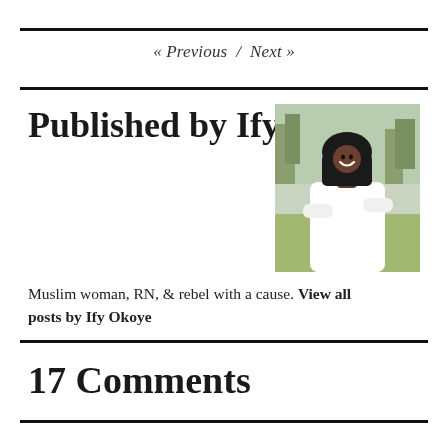« Previous / Next »
Published by Ify Okoye
[Figure (photo): Author photo of Ify Okoye, a Black Muslim woman wearing a hijab and white coat, arms crossed, smiling, standing outdoors with trees in background]
Muslim woman, RN, & rebel with a cause. View all posts by Ify Okoye
17 Comments